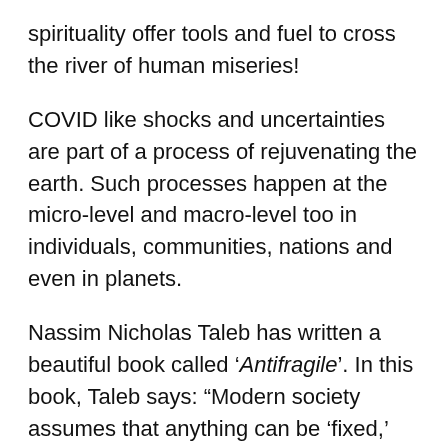spirituality offer tools and fuel to cross the river of human miseries!
COVID like shocks and uncertainties are part of a process of rejuvenating the earth. Such processes happen at the micro-level and macro-level too in individuals, communities, nations and even in planets.
Nassim Nicholas Taleb has written a beautiful book called 'Antifragile'. In this book, Taleb says: “Modern society assumes that anything can be ‘fixed,’ but most of the time it is better to leave well alone. Socioeconomic life and the human body can actually be harmed by intervention, leaving the whole more fragile to shocks and uncertainty. Often, the best course of action is to ignore the noise from too much